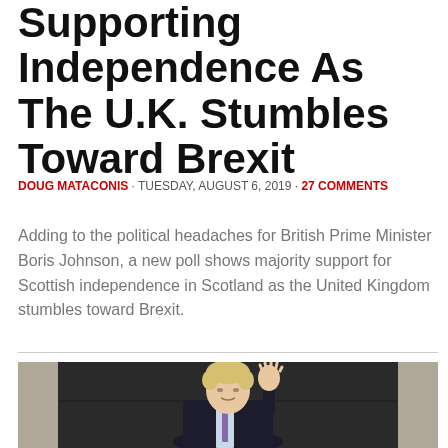Supporting Independence As The U.K. Stumbles Toward Brexit
DOUG MATACONIS · TUESDAY, AUGUST 6, 2019 · 27 COMMENTS
Adding to the political headaches for British Prime Minister Boris Johnson, a new poll shows majority support for Scottish independence in Scotland as the United Kingdom stumbles toward Brexit.
[Figure (photo): Boris Johnson waving outside what appears to be 10 Downing Street, wearing a dark suit]